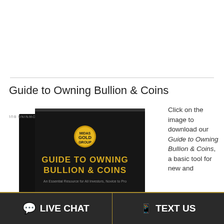Guide to Owning Bullion & Coins
[Figure (illustration): Book cover of 'Guide to Owning Bullion & Coins' by Midas Gold Group — a black book with gold lettering showing the title 'GUIDE TO OWNING BULLION & COINS' and a gold coin logo.]
Click on the image to download our Guide to Owning Bullion & Coins, a basic tool for new and
LIVE CHAT   TEXT US